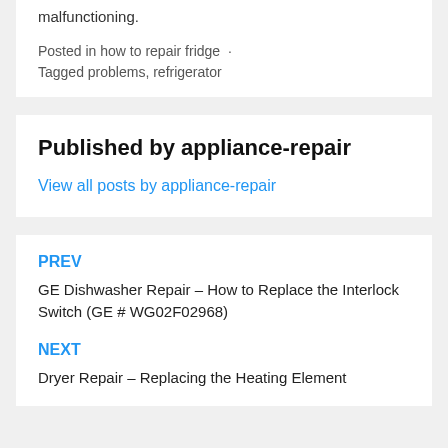malfunctioning.
Posted in how to repair fridge · Tagged problems, refrigerator
Published by appliance-repair
View all posts by appliance-repair
PREV
GE Dishwasher Repair – How to Replace the Interlock Switch (GE # WG02F02968)
NEXT
Dryer Repair – Replacing the Heating Element